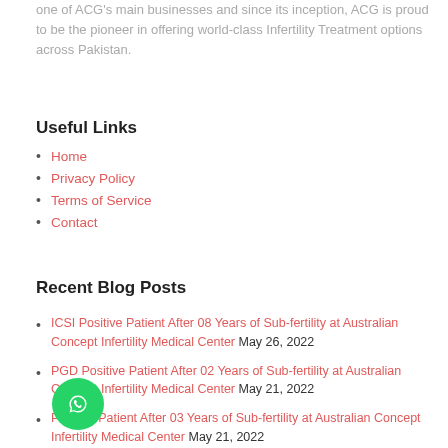one of ACG's main businesses and since its inception, ACG is proud to be the pioneer in offering world-class Infertility Treatment options across Pakistan.
Useful Links
Home
Privacy Policy
Terms of Service
Contact
Recent Blog Posts
ICSI Positive Patient After 08 Years of Sub-fertility at Australian Concept Infertility Medical Center May 26, 2022
PGD Positive Patient After 02 Years of Sub-fertility at Australian Concept Infertility Medical Center May 21, 2022
Positive Patient After 03 Years of Sub-fertility at Australian Concept Infertility Medical Center May 21, 2022